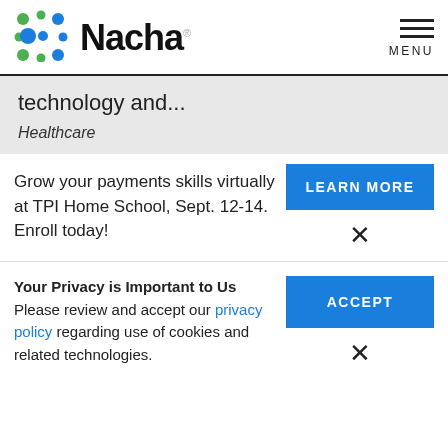Nacha MENU
technology and...
Healthcare
Grow your payments skills virtually at TPI Home School, Sept. 12-14. Enroll today!
LEARN MORE
Your Privacy is Important to Us
Please review and accept our privacy policy regarding use of cookies and related technologies.
ACCEPT